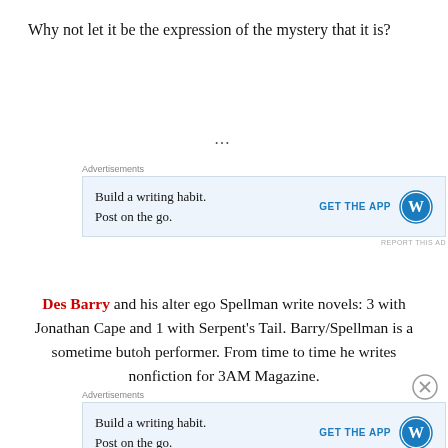Why not let it be the expression of the mystery that it is?
...
[Figure (screenshot): Advertisement banner: Build a writing habit. Post on the go. GET THE APP with WordPress logo]
Des Barry and his alter ego Spellman write novels: 3 with Jonathan Cape and 1 with Serpent's Tail. Barry/Spellman is a sometime butoh performer. From time to time he writes nonfiction for 3AM Magazine.
[Figure (screenshot): Advertisement banner: Build a writing habit. Post on the go. GET THE APP with WordPress logo]